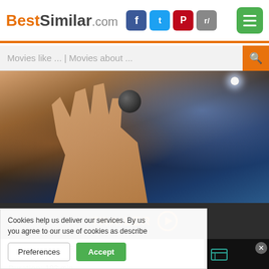BestSimilar.com
Movies like ... | Movies about ...
[Figure (photo): Movie still showing a hand reaching up and a cosmic/space background with stars and nebula, and a dark orb]
TRAILER ▶
Genre: Comedy, Family, Fantasy
Country: USA
Duration: 102 min.
Story: An extraordinarily intellige
+ Watchlist
Cookies help us deliver our services. By us you agree to our use of cookies as describe
Preferences
Accept